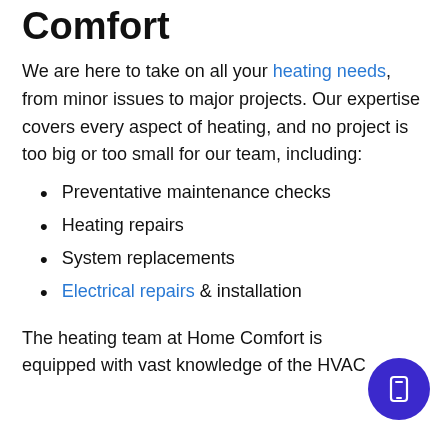Comfort
We are here to take on all your heating needs, from minor issues to major projects. Our expertise covers every aspect of heating, and no project is too big or too small for our team, including:
Preventative maintenance checks
Heating repairs
System replacements
Electrical repairs & installation
The heating team at Home Comfort is equipped with vast knowledge of the HVAC